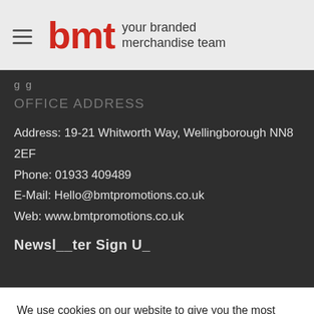bmt your branded merchandise team
g g
OFFICE ADDRESS
Address: 19-21 Whitworth Way, Wellingborough NN8 2EF
Phone: 01933 409489
E-Mail: Hello@bmtpromotions.co.uk
Web: www.bmtpromotions.co.uk
We use cookies on our website to give you the most relevant experience by remembering your preferences and repeat visits. By clicking “Accept”, you consent to the use of ALL the cookies.
Cookie settings
ACCEPT